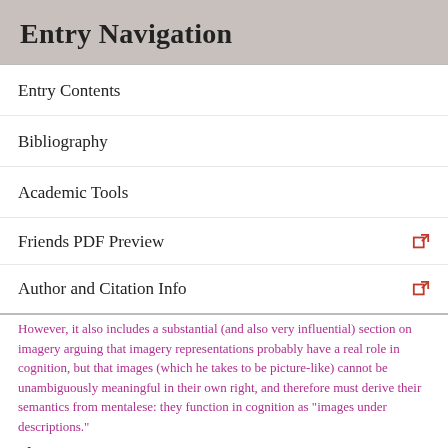Entry Navigation
Entry Contents
Bibliography
Academic Tools
Friends PDF Preview
Author and Citation Info
However, it also includes a substantial (and also very influential) section on imagery arguing that imagery representations probably have a real role in cognition, but that images (which he takes to be picture-like) cannot be unambiguously meaningful in their own right, and therefore must derive their semantics from mentalese: they function in cognition as "images under descriptions."
•
Galton, F. (1880). Statistics of Mental Imagery. Mind (5) 301–318. Reprint available online
Pioneering individual differences survey of imagery vividness. Galton claims to have found that many intellectuals, and scientists in